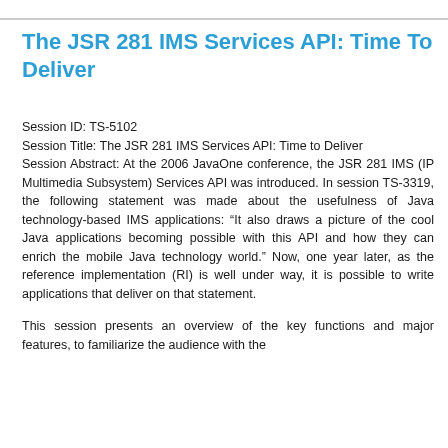The JSR 281 IMS Services API: Time To Deliver
Session ID: TS-5102
Session Title: The JSR 281 IMS Services API: Time to Deliver
Session Abstract: At the 2006 JavaOne conference, the JSR 281 IMS (IP Multimedia Subsystem) Services API was introduced. In session TS-3319, the following statement was made about the usefulness of Java technology-based IMS applications: “It also draws a picture of the cool Java applications becoming possible with this API and how they can enrich the mobile Java technology world.” Now, one year later, as the reference implementation (RI) is well under way, it is possible to write applications that deliver on that statement.
This session presents an overview of the key functions and major features, to familiarize the audience with the